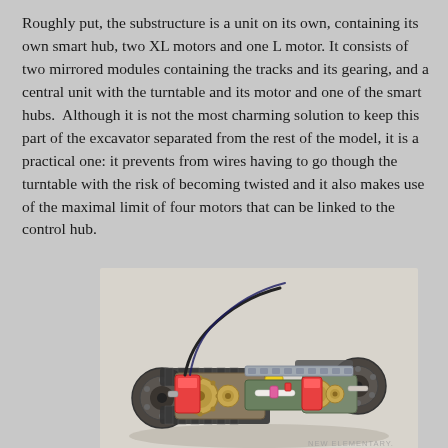Roughly put, the substructure is a unit on its own, containing its own smart hub, two XL motors and one L motor. It consists of two mirrored modules containing the tracks and its gearing, and a central unit with the turntable and its motor and one of the smart hubs.  Although it is not the most charming solution to keep this part of the excavator separated from the rest of the model, it is a practical one: it prevents from wires having to go though the turntable with the risk of becoming twisted and it also makes use of the maximal limit of four motors that can be linked to the control hub.
[Figure (photo): A LEGO Technic excavator substructure showing two mirrored track modules with visible gears, motors, and a central turntable unit. The model is photographed on a light background. A watermark reads NEW ELEMENTARY.]